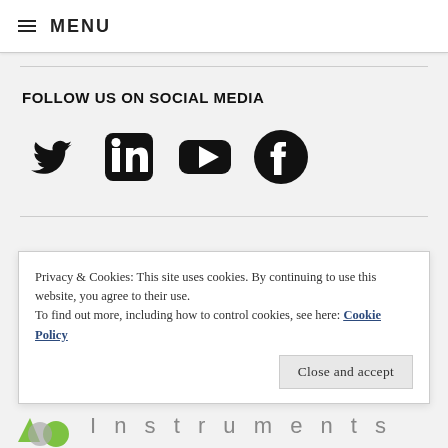≡ MENU
FOLLOW US ON SOCIAL MEDIA
[Figure (illustration): Social media icons: Twitter (bird), LinkedIn (in box), YouTube (play button box), Facebook (f circle) — all black]
Privacy & Cookies: This site uses cookies. By continuing to use this website, you agree to their use.
To find out more, including how to control cookies, see here: Cookie Policy
Close and accept
[Figure (logo): Partial logo: green and grey shapes on left, 'Instruments' text on right in spaced grey letters]